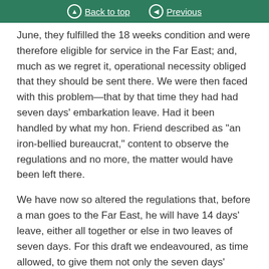Back to top | Previous
June, they fulfilled the 18 weeks condition and were therefore eligible for service in the Far East; and, much as we regret it, operational necessity obliged that they should be sent there. We were then faced with this problem—that by that time they had had seven days' embarkation leave. Had it been handled by what my hon. Friend described as "an iron-bellied bureaucrat," content to observe the regulations and no more, the matter would have been left there.
We have now so altered the regulations that, before a man goes to the Far East, he will have 14 days' leave, either all together or else in two leaves of seven days. For this draft we endeavoured, as time allowed, to give them not only the seven days' embarkation leave they had already had, but three